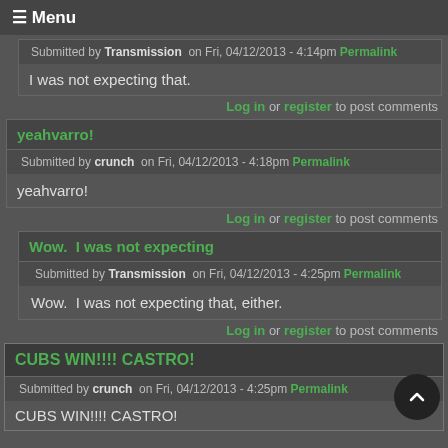≡ Menu
Submitted by Transmission on Fri, 04/12/2013 - 4:14pm  Permalink
I was not expecting that.
Log in or register to post comments
yeahvarro!
Submitted by crunch  on Fri, 04/12/2013 - 4:18pm  Permalink
yeahvarro!
Log in or register to post comments
Wow.  I was not expecting
Submitted by Transmission  on Fri, 04/12/2013 - 4:25pm  Permalink
Wow.  I was not expecting that, either.
Log in or register to post comments
CUBS WIN!!!! CASTRO!
Submitted by crunch  on Fri, 04/12/2013 - 4:25pm  Permalink
CUBS WIN!!!! CASTRO!